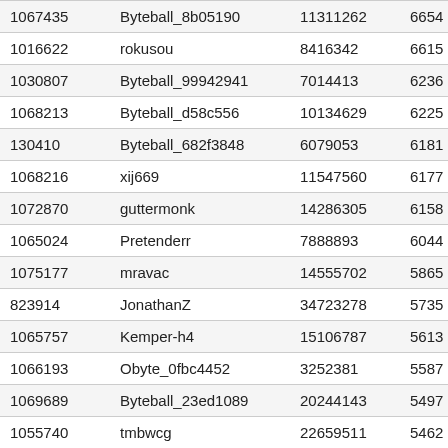| id | username | col3 | col4 |
| --- | --- | --- | --- |
| 1067435 | Byteball_8b05190 | 11311262 | 6654 |
| 1016622 | rokusou | 8416342 | 6615 |
| 1030807 | Byteball_99942941 | 7014413 | 6236 |
| 1068213 | Byteball_d58c556 | 10134629 | 6225 |
| 130410 | Byteball_682f3848 | 6079053 | 6181 |
| 1068216 | xij669 | 11547560 | 6177 |
| 1072870 | guttermonk | 14286305 | 6158 |
| 1065024 | Pretenderr | 7888893 | 6044 |
| 1075177 | mravac | 14555702 | 5865 |
| 823914 | JonathanZ | 34723278 | 5735 |
| 1065757 | Kemper-h4 | 15106787 | 5613 |
| 1066193 | Obyte_0fbc4452 | 3252381 | 5587 |
| 1069689 | Byteball_23ed1089 | 20244143 | 5497 |
| 1055740 | tmbwcg | 22659511 | 5462 |
| 1068298 | yxksy | 3904728 | 5460 |
| 1070085 | ..._70 | 10050100 | 5300 |